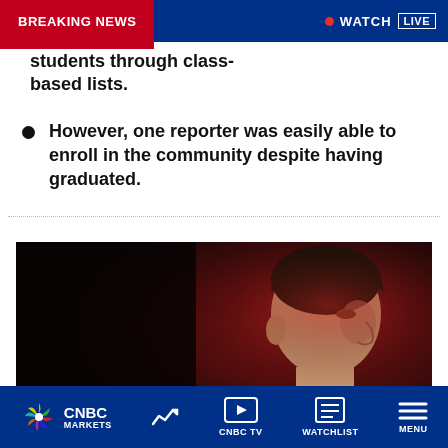BREAKING NEWS | WATCH LIVE
students through class-based lists.
However, one reporter was easily able to enroll in the community despite having graduated.
[Figure (photo): Man in dark shirt photographed in profile against a dark red background, appears to be a news interview or panel subject.]
CNBC | MARKETS | CNBC TV | WATCHLIST | MENU